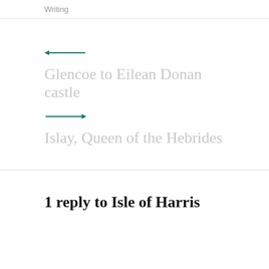Writing
← Glencoe to Eilean Donan castle
→ Islay, Queen of the Hebrides
1 reply to Isle of Harris